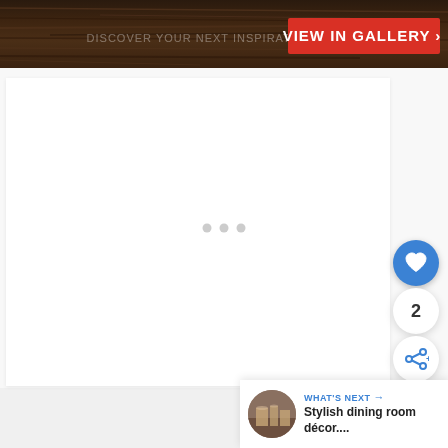[Figure (photo): Dark wood grain surface/floor photo at the top of the page with a red 'VIEW IN GALLERY' button overlay in the top right corner]
VIEW IN GALLERY ›
[Figure (screenshot): Large white/light gray content area with three small gray loading dots in the center, representing a loading state for a gallery image viewer]
[Figure (infographic): Right-side social interaction panel with a blue circular heart/favorite button, a count of '2', and a blue circular share button with a network share icon]
2
WHAT'S NEXT → Stylish dining room décor....
[Figure (photo): Small circular thumbnail photo of a stylish dining room interior]